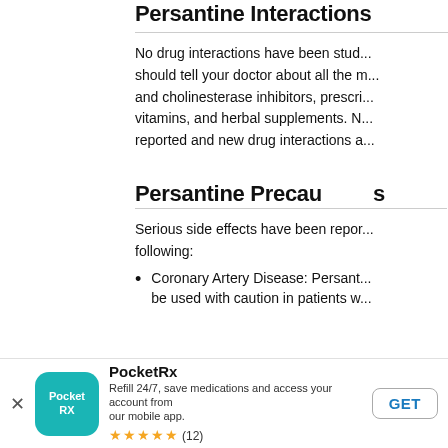Persantine Interactions
No drug interactions have been studied. You should tell your doctor about all the medications and cholinesterase inhibitors, prescription vitamins, and herbal supplements. Not yet reported and new drug interactions a...
Persantine Precautions
Serious side effects have been reported. The following:
Coronary Artery Disease: Persantine should be used with caution in patients w...
[Figure (logo): PocketRx app icon - teal rounded square with PocketRx logo text]
PocketRx
Refill 24/7, save medications and access your account from our mobile app.
★★★★★ (12)